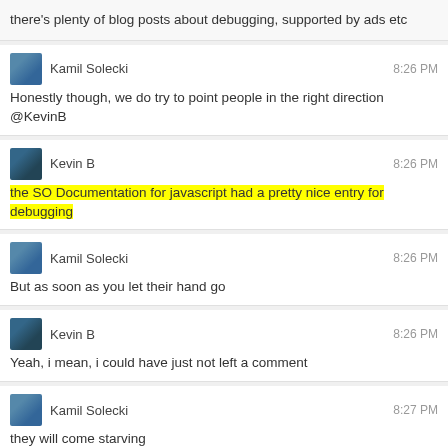there's plenty of blog posts about debugging, supported by ads etc
Kamil Solecki 8:26 PM
Honestly though, we do try to point people in the right direction @KevinB
Kevin B 8:26 PM
the SO Documentation for javascript had a pretty nice entry for debugging
Kamil Solecki 8:26 PM
But as soon as you let their hand go
Kevin B 8:26 PM
Yeah, i mean, i could have just not left a comment
Kamil Solecki 8:27 PM
they will come starving
MikeTheLiar 8:27 PM
@KevinB lol docs
I forgot about docs
Loktar 8:27 PM
@MikeTheLiar lol same
Kevin B 8:27 PM
i feel like SO needs a heavily restricted Wiki